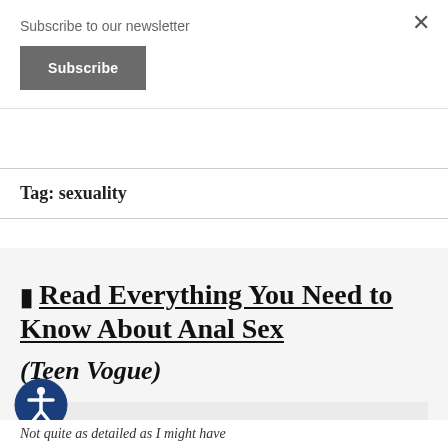Subscribe to our newsletter
Subscribe
Tag: sexuality
📋 Read Everything You Need to Know About Anal Sex (Teen Vogue)
How to do it the RIGHT way.
Not quite as detailed as I might have